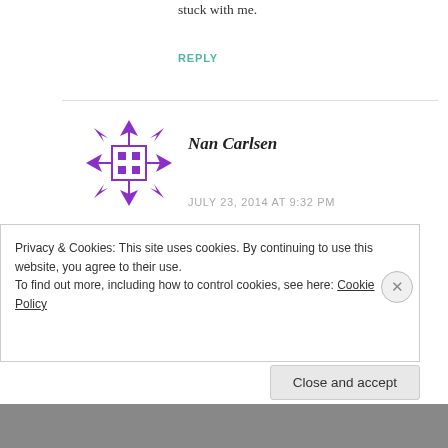stuck with me.
REPLY
[Figure (logo): Purple snowflake/geometric avatar icon for user Nan Carlsen]
Nan Carlsen
JULY 23, 2014 AT 9:32 PM
WELL ALL RIGHTY THEN! WE BE FAMILY!!!!! I'M JUST GONNA OWN THAT FAMILY AFFILIATION AND KEEP
Privacy & Cookies: This site uses cookies. By continuing to use this website, you agree to their use.
To find out more, including how to control cookies, see here: Cookie Policy
Close and accept